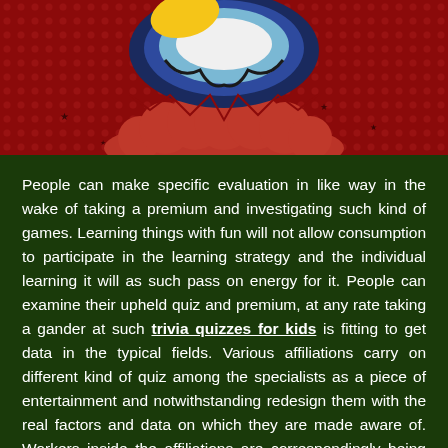[Figure (illustration): Comic-style pop art illustration with a dark red/crimson background featuring halftone dot pattern and a colorful explosion/burst shape with yellow, blue, white, and dark navy comic-book style starburst or speech bubble element at the top of the page.]
People can make specific evaluation in like way in the wake of taking a premium and investigating such kind of games. Learning things with fun will not allow consumption to participate in the learning strategy and the individual learning it will as such pass on energy for it. People can examine their upheld quiz and premium, at any rate taking a gander at such trivia quizzes for kids is fitting to get data in the typical fields. Various affiliations carry on different kind of quiz among the specialists as a piece of entertainment and notwithstanding redesign them with the real factors and data on which they are made aware of. Workers inside the affiliations are correspondingly being taken for specific appraisal to make them know the things where they are inadequate in.